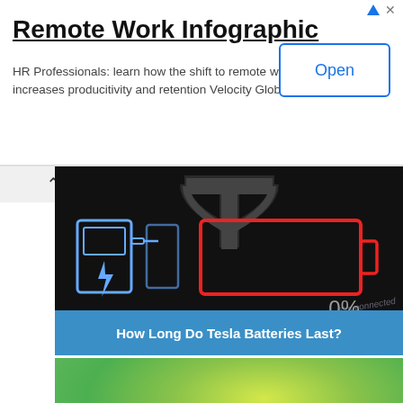[Figure (infographic): Advertisement banner for 'Remote Work Infographic' by Velocity Global with an Open button, ad choice icon and close button at top right.]
Remote Work Infographic
HR Professionals: learn how the shift to remote work increases producitivity and retention Velocity Global
[Figure (infographic): Article thumbnail showing Tesla charging station icon and a red empty battery outline showing 0% on a black background with Tesla T logo. Blue caption bar reads: How Long Do Tesla Batteries Last?]
How Long Do Tesla Batteries Last?
[Figure (photo): Green blurred bokeh background photo with white circular icon and partial hand/fingers at bottom, suggesting an eco or green energy article thumbnail.]